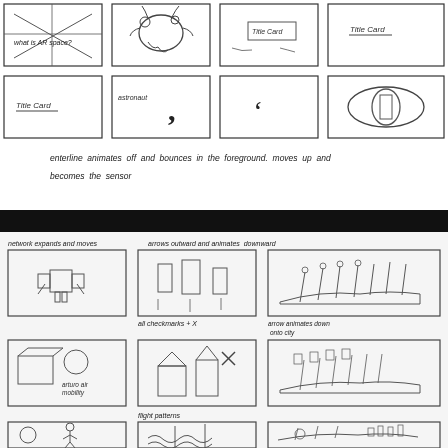[Figure (illustration): Top section: storyboard sketches in a 4-column grid. Row 1: (1) sketch with X lines and handwritten 'what is AR space?', (2) sketch of a creature/bug shape, (3) sketch with 'Title Card' text box, (4) sketch with 'Title Card' text. Row 2: (1) sketch labeled 'Title Card', (2) sketch with 'astronaut' and comma punctuation, (3) sketch with a comma/apostrophe shape, (4) sketch of oval/ring shape.]
enterline animates off and bounces in the foreground. moves up and becomes the sensor
[Figure (illustration): Bottom section: storyboard sketches in 3-column grid. Top label: 'network expands and moves'. Middle left row: sketch of a mechanical/robotic structure. Middle text: 'arrows outward and animates downward'. Right of middle: sketch of vertical rods/antenna on platform. Below middle label: 'arrow animates down onto city'. Row 2 left: sketch with box and sphere labeled 'arturo air mobility'. Row 2 middle label: 'all checksmarks + X', sketch of buildings/houses. Row 2 right: sketch of city with rods. Row 3 left: sketch of circle and character labeled 'commercial drone traffic management'. Row 3 middle label: 'flight patterns', sketch of wind/flow patterns. Row 3 right: sketch of city/platform scene.]